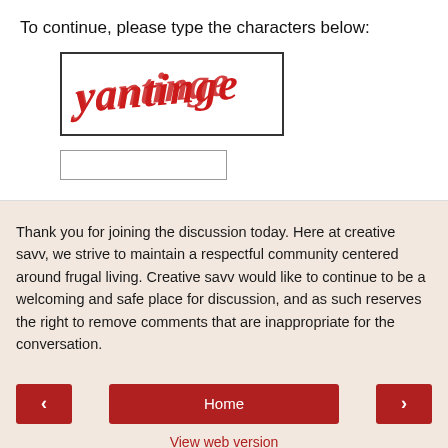To continue, please type the characters below:
[Figure (other): CAPTCHA image showing distorted red text reading 'yantinge' on white background]
[Figure (other): Text input field for CAPTCHA entry]
Thank you for joining the discussion today. Here at creative savv, we strive to maintain a respectful community centered around frugal living. Creative savv would like to continue to be a welcoming and safe place for discussion, and as such reserves the right to remove comments that are inappropriate for the conversation.
Home
View web version